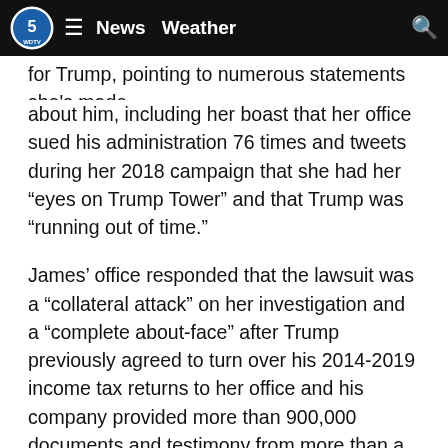WDTV | News | Weather
for Trump, pointing to numerous statements she's made about him, including her boast that her office sued his administration 76 times and tweets during her 2018 campaign that she had her “eyes on Trump Tower” and that Trump was “running out of time.”
James’ office responded that the lawsuit was a “collateral attack” on her investigation and a “complete about-face” after Trump previously agreed to turn over his 2014-2019 income tax returns to her office and his company provided more than 900,000 documents and testimony from more than a dozen current and former employees.
ADVERTISEMENT